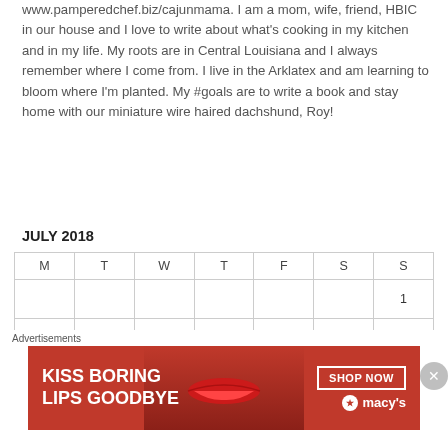www.pamperedchef.biz/cajunmama. I am a mom, wife, friend, HBIC in our house and I love to write about what's cooking in my kitchen and in my life. My roots are in Central Louisiana and I always remember where I come from. I live in the Arklatex and am learning to bloom where I'm planted. My #goals are to write a book and stay home with our miniature wire haired dachshund, Roy!
View Full Profile →
JULY 2018
| M | T | W | T | F | S | S |
| --- | --- | --- | --- | --- | --- | --- |
|  |  |  |  |  |  | 1 |
| 2 | 3 | 4 | 5 | 6 | 7 | 8 |
| 9 | 10 | 11 | 12 | 13 | 14 | 15 |
| 16 | 17 | 18 | 19 | 20 | 21 | 22 |
Advertisements
[Figure (infographic): Macy's advertisement banner: KISS BORING LIPS GOODBYE with SHOP NOW button and Macy's star logo]